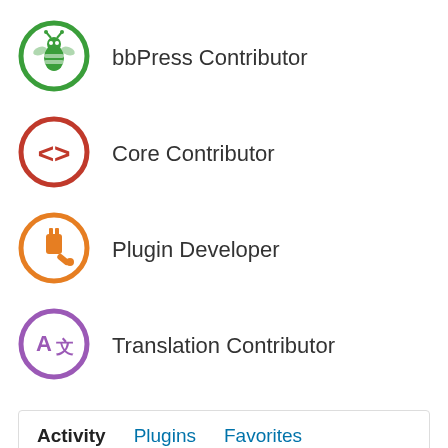bbPress Contributor
Core Contributor
Plugin Developer
Translation Contributor
Activity  Plugins  Favorites
<> Created ticket #54213 on Core Trac: "Authorize Application" should reject handling an already...